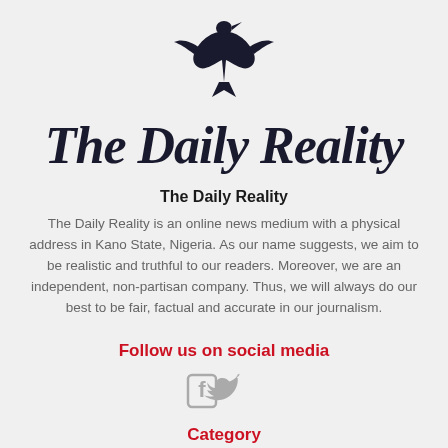[Figure (logo): Bird/dove logo in dark navy blue, stylized with spread wings]
The Daily Reality
The Daily Reality
The Daily Reality is an online news medium with a physical address in Kano State, Nigeria. As our name suggests, we aim to be realistic and truthful to our readers. Moreover, we are an independent, non-partisan company. Thus, we will always do our best to be fair, factual and accurate in our journalism.
Follow us on social media
[Figure (illustration): Facebook and Twitter social media icons in gray]
Category